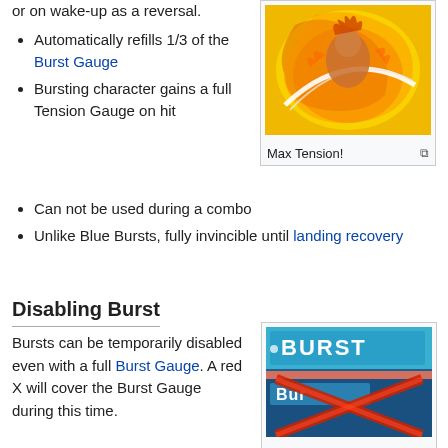press an advantage, or on wake-up as a reversal.
[Figure (photo): Anime fighting game screenshot showing a character performing a burst move with fire/flame effects in yellow and orange. Caption: Max Tension!]
Automatically refills 1/3 of the Burst Gauge
Bursting character gains a full Tension Gauge on hit
Can not be used during a combo
Unlike Blue Bursts, fully invincible until landing recovery
Disabling Burst
Bursts can be temporarily disabled even with a full Burst Gauge. A red X will cover the Burst Gauge during this time.
[Figure (screenshot): Screenshot of Heaven or Hell screen showing the Burst gauge UI with a red X overlaid on it. Caption: Heaven or Hell]